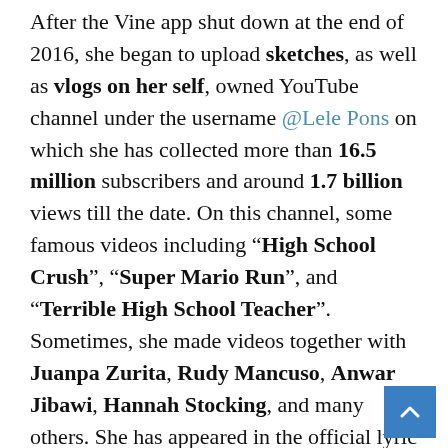After the Vine app shut down at the end of 2016, she began to upload sketches, as well as vlogs on her self, owned YouTube channel under the username @Lele Pons on which she has collected more than 16.5 million subscribers and around 1.7 billion views till the date. On this channel, some famous videos including "High School Crush", "Super Mario Run", and "Terrible High School Teacher". Sometimes, she made videos together with Juanpa Zurita, Rudy Mancuso, Anwar Jibawi, Hannah Stocking, and many others. She has appeared in the official lyric video of "Downtown" featured by Anitta and J Balvin.